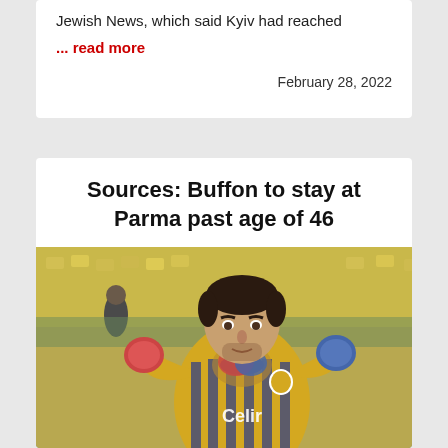Jewish News, which said Kyiv had reached
... read more
February 28, 2022
Sources: Buffon to stay at Parma past age of 46
[Figure (photo): Photo of Gianluigi Buffon in Parma goalkeeper kit (yellow and blue striped jersey with Celino sponsor), clapping with gloved hands, at a stadium with yellow seats in the background.]